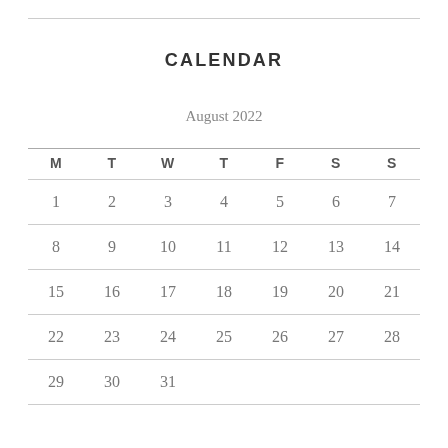CALENDAR
August 2022
| M | T | W | T | F | S | S |
| --- | --- | --- | --- | --- | --- | --- |
| 1 | 2 | 3 | 4 | 5 | 6 | 7 |
| 8 | 9 | 10 | 11 | 12 | 13 | 14 |
| 15 | 16 | 17 | 18 | 19 | 20 | 21 |
| 22 | 23 | 24 | 25 | 26 | 27 | 28 |
| 29 | 30 | 31 |  |  |  |  |